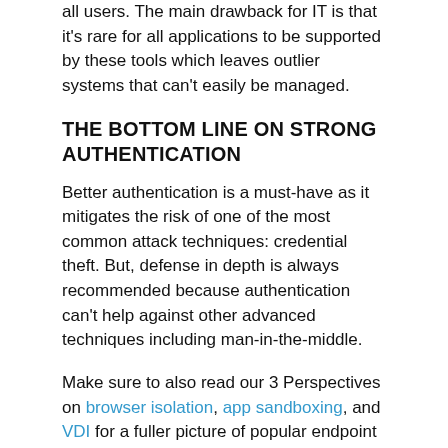all users. The main drawback for IT is that it's rare for all applications to be supported by these tools which leaves outlier systems that can't easily be managed.
THE BOTTOM LINE ON STRONG AUTHENTICATION
Better authentication is a must-have as it mitigates the risk of one of the most common attack techniques: credential theft. But, defense in depth is always recommended because authentication can't help against other advanced techniques including man-in-the-middle.
Make sure to also read our 3 Perspectives on browser isolation, app sandboxing, and VDI for a fuller picture of popular endpoint security approaches.
[Figure (illustration): Five social media sharing icons: Facebook, Twitter, LinkedIn, WhatsApp, and a share/sync icon — all white on black circular backgrounds.]